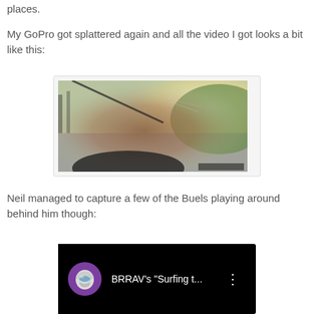places.
My GoPro got splattered again and all the video I got looks a bit like this:
[Figure (photo): A blurry GoPro camera footage showing a road scene with mud/water splattered on the lens. A road and greenery visible in the background with bright sunlight.]
Neil managed to capture a few of the Buels playing around behind him though:
[Figure (screenshot): A YouTube video thumbnail/player showing a dark background with a purple circular avatar featuring a motorcycle helmet and the title 'BRRAV\'s "Surfing t...' with a three-dot menu icon.]